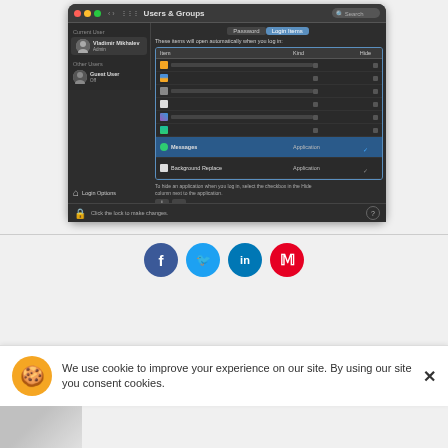[Figure (screenshot): macOS Users & Groups system preferences window showing Login Items tab with Messages and Background Replace listed as applications, with checkboxes in the Hide column]
[Figure (infographic): Social media share buttons: Facebook (blue circle with f), Twitter (light blue circle with bird), LinkedIn (blue circle with in), Pinterest (red circle with P)]
We use cookie to improve your experience on our site. By using our site you consent cookies.